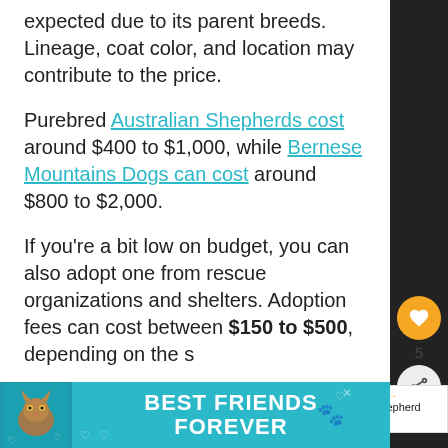expected due to its parent breeds. Lineage, coat color, and location may contribute to the price.
Purebred Australian Shepherds cost around $400 to $1,000, while Bernese Mountains Dogs can cost around $800 to $2,000.
If you're a bit low on budget, you can also adopt one from rescue organizations and shelters. Adoption fees can cost between $150 to $500, depending on the s... Aside from saving money, you could also save a life.
[Figure (other): Sidebar with heart/like button showing count 5 and share button]
[Figure (other): What's Next box showing Australian Shepherd Bl... with thumbnail]
[Figure (other): Advertisement banner: BEST FRIENDS FOREVER with cat image on teal background]